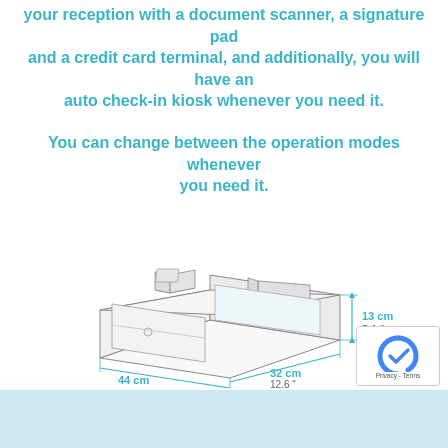your reception with a document scanner, a signature pad and a credit card terminal, and additionally, you will have an auto check-in kiosk whenever you need it.
You can change between the operation modes whenever you need it.
[Figure (engineering-diagram): Isometric line drawing of a document scanner / check-in kiosk device with dimension annotations: 44 cm / 17.3 inches (depth), 32 cm / 12.6 inches (width), 13 cm / 5.1 inches (height).]